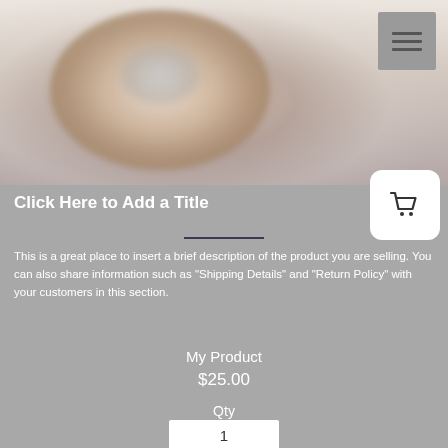[Figure (photo): Blurred product photo showing what appears to be a donut or round food item in soft warm tones on a light background]
Click Here to Add a Title
This is a great place to insert a brief description of the product you are selling. You can also share information such as "Shipping Details" and "Return Policy" with your customers in this section.
My Product
$25.00
Qty
1